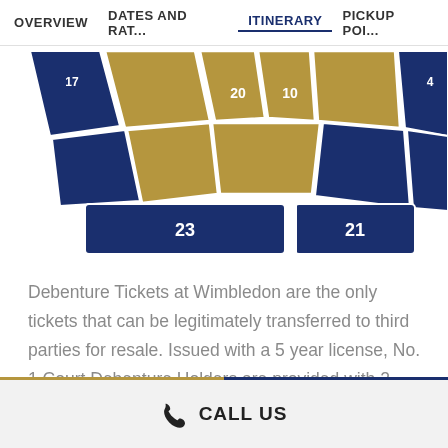OVERVIEW   DATES AND RAT...   ITINERARY   PICKUP POI...
[Figure (illustration): Partial seating diagram of Wimbledon No. 1 Court showing numbered sections in navy blue and gold/tan colors. Visible section numbers include 20, 10, 23, 21, and partial others.]
Debenture Tickets at Wimbledon are the only tickets that can be legitimately transferred to third parties for resale. Issued with a 5 year license, No. 1 Court Debenture Holders are provided with 2 tickets on No. 1 Court for everyday of the Wimbledon Tennis Championships.  Tickets for individual days play of Wimbledon are then sold off by the Debenture Holder through brokers just like this one!
CALL US